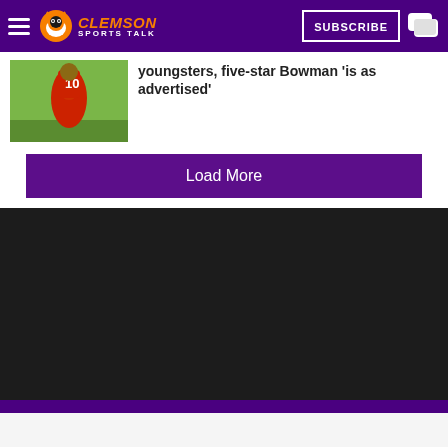Clemson Sports Talk
[Figure (screenshot): Article thumbnail showing a football player wearing jersey number 10 on a green field]
youngsters, five-star Bowman 'is as advertised'
Load More
[Figure (photo): Dark/black section - video or media embed area]